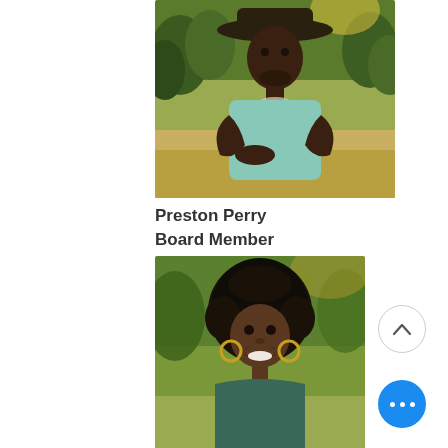[Figure (photo): Portrait photo of Preston Perry, a Black man wearing a wide-brimmed hat and light teal t-shirt, standing with arms loosely crossed in a park setting with trees in background]
Preston Perry
Board Member
[Figure (photo): Portrait photo of a young Black woman with large natural curly hair pulled up, wearing hoop earrings, smiling, outdoors with blurred green background]